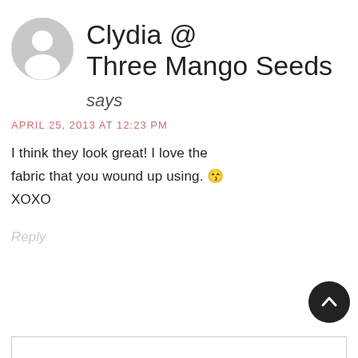[Figure (illustration): Circular grey default user avatar icon]
Clydia @ Three Mango Seeds says
APRIL 25, 2013 AT 12:23 PM
I think they look great! I love the fabric that you wound up using. 😁 XOXO
Reply